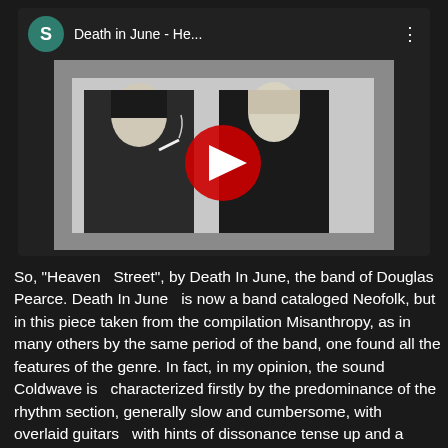[Figure (screenshot): YouTube video card showing 'Death in June - He...' with a black and white thumbnail of two figures and a red YouTube play button overlay. Card has a teal avatar with letter S, video title, and three-dot menu.]
So, "Heaven  Street", by Death In June, the band of Douglas Pearce. Death In June  is now a band cataloged Neofolk, but in this piece taken from the compilation Misanthropy, as in many others by the same period of the band, one found all the features of the genre. In fact, in my opinion, the sound Coldwave is  characterized firstly by the predominance of the rhythm section, generally slow and cumbersome, with  overlaid guitars  with hints of dissonance tense up and a metaphoric use of synthetizers, cause of the use of the coldest sounds of those things...